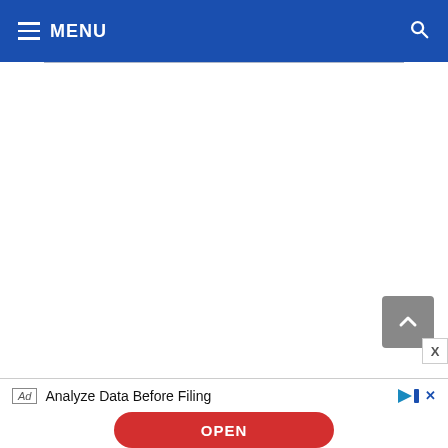MENU
[Figure (screenshot): White empty content area below navigation bar]
[Figure (infographic): Gray scroll-to-top arrow button in bottom-right corner]
Ad  Analyze Data Before Filing
[Figure (infographic): Red OPEN button for advertisement]